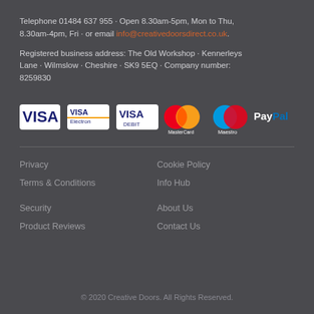Telephone 01484 637 955 · Open 8.30am-5pm, Mon to Thu, 8.30am-4pm, Fri · or email info@creativedoorsdirect.co.uk.
Registered business address: The Old Workshop · Kennerleys Lane · Wilmslow · Cheshire · SK9 5EQ · Company number: 8259830
[Figure (logo): Payment method logos: VISA, VISA Electron, VISA Debit, MasterCard, Maestro, PayPal]
Privacy
Cookie Policy
Terms & Conditions
Info Hub
Security
About Us
Product Reviews
Contact Us
© 2020 Creative Doors. All Rights Reserved.